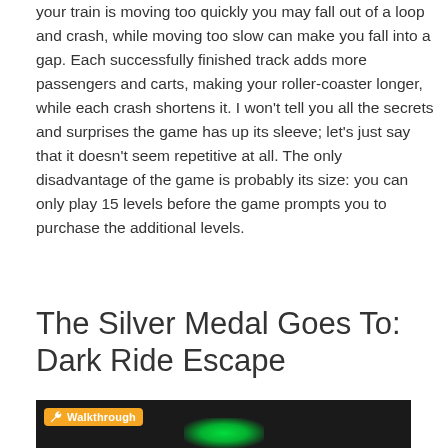your train is moving too quickly you may fall out of a loop and crash, while moving too slow can make you fall into a gap. Each successfully finished track adds more passengers and carts, making your roller-coaster longer, while each crash shortens it. I won't tell you all the secrets and surprises the game has up its sleeve; let's just say that it doesn't seem repetitive at all. The only disadvantage of the game is probably its size: you can only play 15 levels before the game prompts you to purchase the additional levels.
The Silver Medal Goes To: Dark Ride Escape
[Figure (screenshot): Dark screenshot with green glow light, showing a Walkthrough badge in orange at the top left corner]